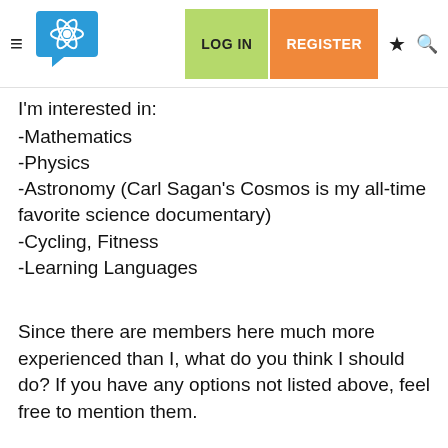LOG IN  REGISTER
I'm interested in:
-Mathematics
-Physics
-Astronomy (Carl Sagan's Cosmos is my all-time favorite science documentary)
-Cycling, Fitness
-Learning Languages
Since there are members here much more experienced than I, what do you think I should do? If you have any options not listed above, feel free to mention them.
I apologize if there is a slight, depressing tone to my long post.